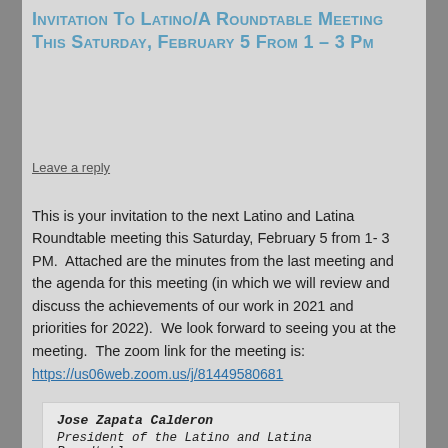Invitation to Latino/a Roundtable Meeting this Saturday, February 5 from 1 – 3 pm
Leave a reply
This is your invitation to the next Latino and Latina Roundtable meeting this Saturday, February 5 from 1- 3 PM.  Attached are the minutes from the last meeting and the agenda for this meeting (in which we will review and discuss the achievements of our work in 2021 and priorities for 2022).  We look forward to seeing you at the meeting.  The zoom link for the meeting is:
https://us06web.zoom.us/j/81449580681
Jose Zapata Calderon
President of the Latino and Latina Roundtable